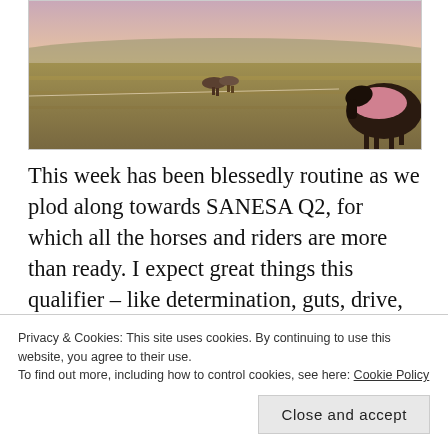[Figure (photo): Landscape photo of a wide open grassland at dusk/sunset with horses grazing in the distance and a dark horse with a pink blanket in the foreground right.]
This week has been blessedly routine as we plod along towards SANESA Q2, for which all the horses and riders are more than ready. I expect great things this qualifier – like determination, guts, drive, grace and patience – from my riders. I'm riding Midas in dressage
Privacy & Cookies: This site uses cookies. By continuing to use this website, you agree to their use.
To find out more, including how to control cookies, see here: Cookie Policy
Close and accept